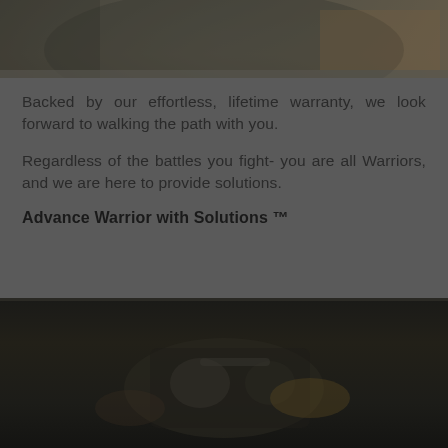[Figure (photo): Dark photo showing a person in outdoor/military gear, partially visible at the top of the page]
Backed by our effortless, lifetime warranty, we look forward to walking the path with you.
Regardless of the battles you fight- you are all Warriors, and we are here to provide solutions.
Advance Warrior with Solutions ™
[Figure (photo): Dark photo showing military/tactical equipment including what appears to be headphones/communications gear]